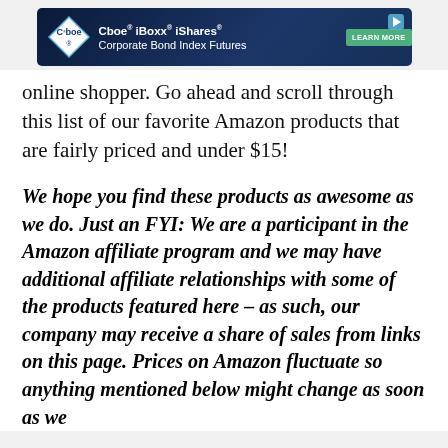[Figure (logo): Cboe advertisement banner: Cboe iBoxx iShares Corporate Bond Index Futures with Learn More button]
online shopper. Go ahead and scroll through this list of our favorite Amazon products that are fairly priced and under $15!
We hope you find these products as awesome as we do. Just an FYI: We are a participant in the Amazon affiliate program and we may have additional affiliate relationships with some of the products featured here – as such, our company may receive a share of sales from links on this page. Prices on Amazon fluctuate so anything mentioned below might change as soon as we